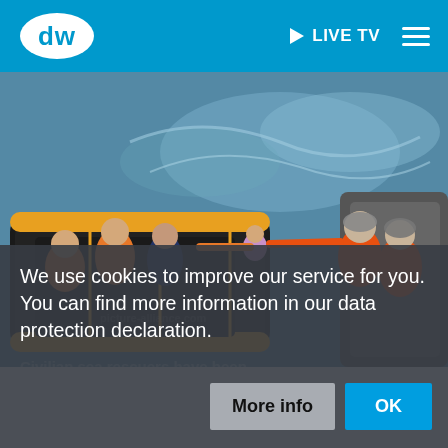DW | LIVE TV
[Figure (photo): Rescue workers in orange uniforms assist refugees on an inflatable boat at sea. A child is being passed between boats. Blue ocean water visible in background.]
We use cookies to improve our service for you. You can find more information in our data protection declaration.
Civilian sea rescuers have been threatened with weapons as they try to help refugees. World Humanitarian Day is
More info
OK